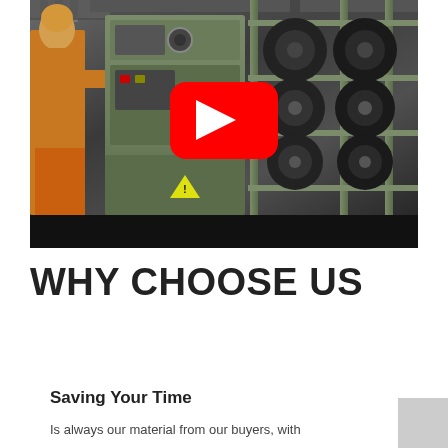[Figure (photo): YouTube video thumbnail showing a factory scene with a worker in orange protective gear operating industrial weaving/textile machinery (green machines with large black spools on racks), with a YouTube play button overlay in the center and a black bar at the bottom.]
WHY CHOOSE US
Saving Your Time
Is always our material from our buyers, with